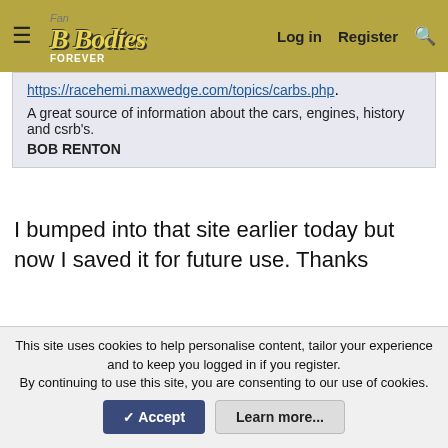≡  FBodies  Log in  Register  🔍
https://racehemi.maxwedge.com/topics/carbs.php.
A great source of information about the cars, engines, history and csrb's.
BOB RENTON
I bumped into that site earlier today but now I saved it for future use. Thanks
You must log in or register to reply here.
Similar threads
Max fuel pressure for Carter 3705 carbs?
This site uses cookies to help personalise content, tailor your experience and to keep you logged in if you register.
By continuing to use this site, you are consenting to our use of cookies.
✓ Accept   Learn more...